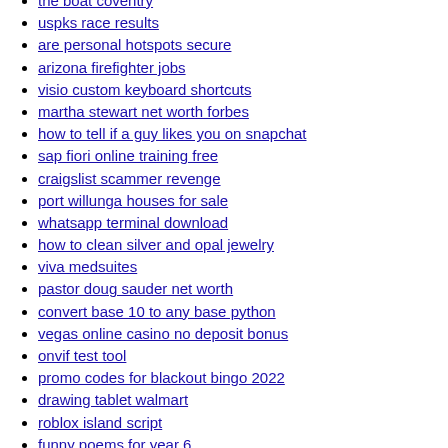the boat coventry
uspks race results
are personal hotspots secure
arizona firefighter jobs
visio custom keyboard shortcuts
martha stewart net worth forbes
how to tell if a guy likes you on snapchat
sap fiori online training free
craigslist scammer revenge
port willunga houses for sale
whatsapp terminal download
how to clean silver and opal jewelry
viva medsuites
pastor doug sauder net worth
convert base 10 to any base python
vegas online casino no deposit bonus
onvif test tool
promo codes for blackout bingo 2022
drawing tablet walmart
roblox island script
funny poems for year 6
chevy sonic transmission fluid check
fake oil carts reddit
best baseball prep schools
pet friendly houses for rent in brookpark ohio